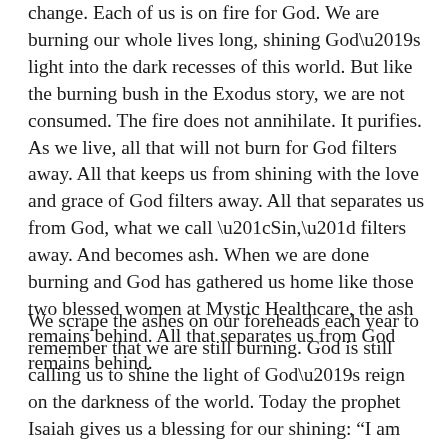change. Each of us is on fire for God. We are burning our whole lives long, shining God's light into the dark recesses of this world. But like the burning bush in the Exodus story, we are not consumed. The fire does not annihilate. It purifies. As we live, all that will not burn for God filters away. All that keeps us from shining with the love and grace of God filters away. All that separates us from God, what we call “Sin,” filters away. And becomes ash. When we are done burning and God has gathered us home like those two blessed women at Mystic Healthcare, the ash remains behind. All that separates us from God remains behind.
We scrape the ashes on our foreheads each year to remember that we are still burning. God is still calling us to shine the light of God’s reign on the darkness of the world. Today the prophet Isaiah gives us a blessing for our shining: “...